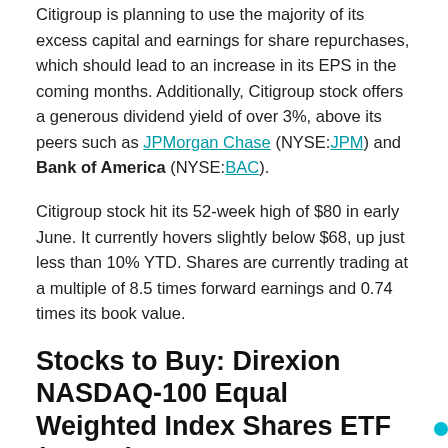Citigroup is planning to use the majority of its excess capital and earnings for share repurchases, which should lead to an increase in its EPS in the coming months. Additionally, Citigroup stock offers a generous dividend yield of over 3%, above its peers such as JPMorgan Chase (NYSE:JPM) and Bank of America (NYSE:BAC).
Citigroup stock hit its 52-week high of $80 in early June. It currently hovers slightly below $68, up just less than 10% YTD. Shares are currently trading at a multiple of 8.5 times forward earnings and 0.74 times its book value.
Stocks to Buy: Direxion NASDAQ-100 Equal Weighted Index Shares ETF (QQQE)
The